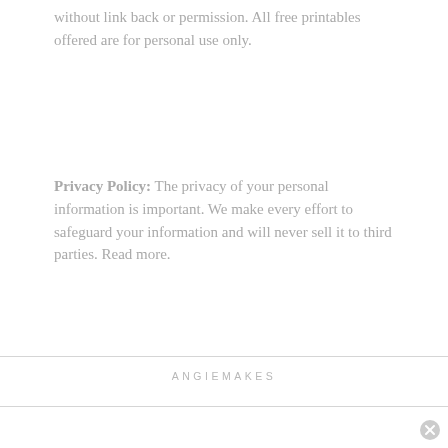without link back or permission. All free printables offered are for personal use only.
Privacy Policy: The privacy of your personal information is important. We make every effort to safeguard your information and will never sell it to third parties. Read more.
ANGIEMAKES